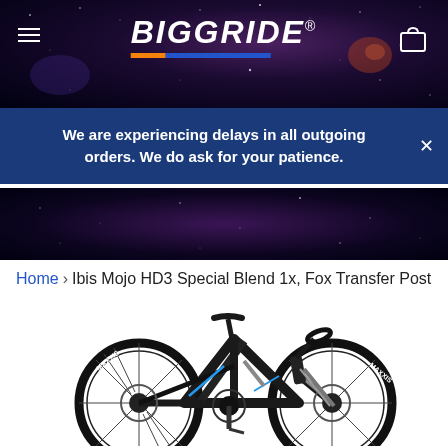[Figure (screenshot): BigGride website header with dark space/galaxy background, hamburger menu icon on left, BIGGRIDE logo in center with orange and blue bar beneath it, and shopping cart icon on right]
We are experiencing delays in all outgoing orders. We do ask for your patience.
[Figure (photo): Dark space/galaxy background image continuing below the notification banner]
Home › Ibis Mojo HD3 Special Blend 1x, Fox Transfer Post
[Figure (photo): Black and blue Ibis Mojo HD3 mountain bike with MAXXIS tires on white background]